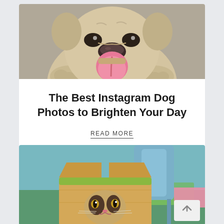[Figure (photo): Close-up photo of a pug dog face-on with tongue sticking out, looking at camera]
The Best Instagram Dog Photos to Brighten Your Day
READ MORE
[Figure (photo): Cat peeking out from inside a cardboard box, with a teal chair and colorful items in background, back-to-top arrow button visible]